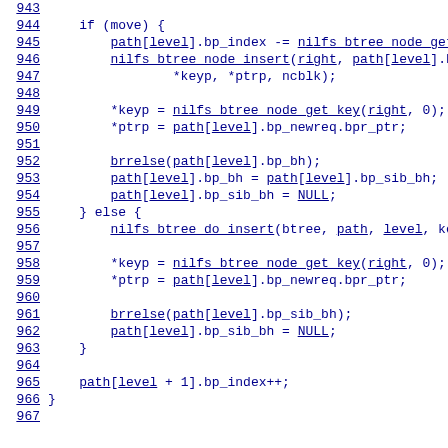[Figure (screenshot): Source code listing showing C code lines 943-967, with line numbers on the left and code on the right. The code shows an if/else block handling btree node insertion logic with nilfs btree functions.]